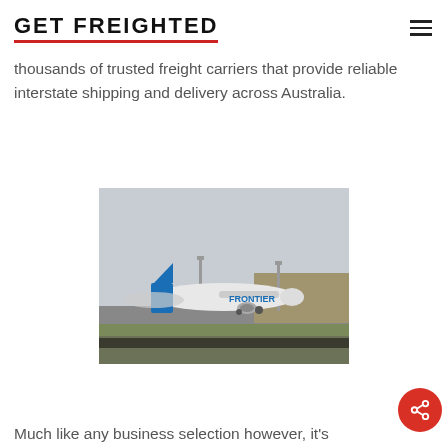GET FREIGHTED
thousands of trusted freight carriers that provide reliable interstate shipping and delivery across Australia.
[Figure (photo): A Frontier Airlines aircraft on an airport tarmac runway]
Much like any business selection however, it's